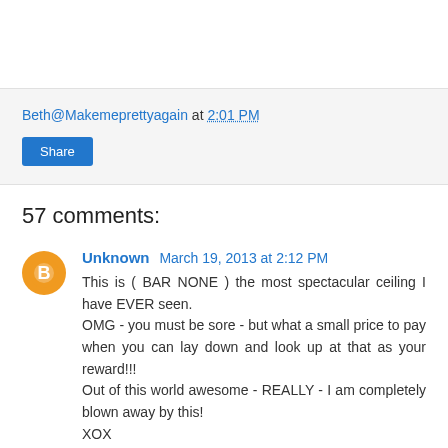Beth@Makemeprettyagain at 2:01 PM
Share
57 comments:
Unknown March 19, 2013 at 2:12 PM
This is ( BAR NONE ) the most spectacular ceiling I have EVER seen.
OMG - you must be sore - but what a small price to pay when you can lay down and look up at that as your reward!!!
Out of this world awesome - REALLY - I am completely blown away by this!
XOX
Reply